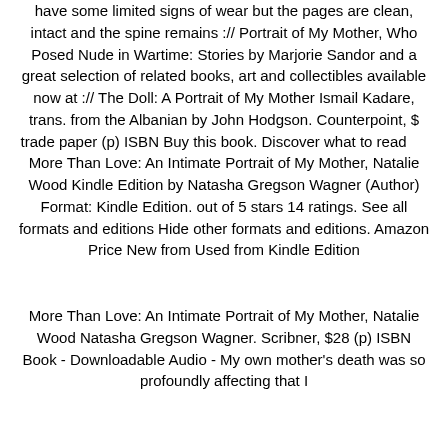have some limited signs of wear but the pages are clean, intact and the spine remains :// Portrait of My Mother, Who Posed Nude in Wartime: Stories by Marjorie Sandor and a great selection of related books, art and collectibles available now at :// The Doll: A Portrait of My Mother Ismail Kadare, trans. from the Albanian by John Hodgson. Counterpoint, $ trade paper (p) ISBN Buy this book. Discover what to read     More Than Love: An Intimate Portrait of My Mother, Natalie Wood Kindle Edition by Natasha Gregson Wagner (Author) Format: Kindle Edition. out of 5 stars 14 ratings. See all formats and editions Hide other formats and editions. Amazon Price New from Used from Kindle Edition
More Than Love: An Intimate Portrait of My Mother, Natalie Wood Natasha Gregson Wagner. Scribner, $28 (p) ISBN Book - Downloadable Audio - My own mother's death was so profoundly affecting that I